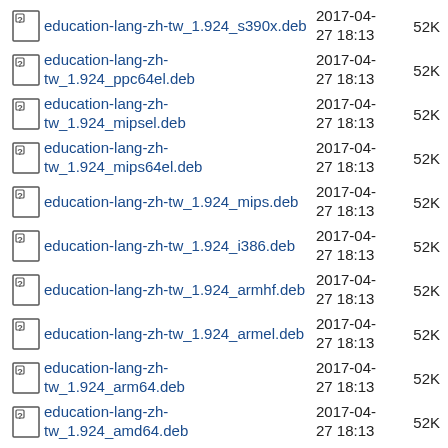education-lang-zh-tw_1.924_s390x.deb  2017-04-27 18:13  52K
education-lang-zh-tw_1.924_ppc64el.deb  2017-04-27 18:13  52K
education-lang-zh-tw_1.924_mipsel.deb  2017-04-27 18:13  52K
education-lang-zh-tw_1.924_mips64el.deb  2017-04-27 18:13  52K
education-lang-zh-tw_1.924_mips.deb  2017-04-27 18:13  52K
education-lang-zh-tw_1.924_i386.deb  2017-04-27 18:13  52K
education-lang-zh-tw_1.924_armhf.deb  2017-04-27 18:13  52K
education-lang-zh-tw_1.924_armel.deb  2017-04-27 18:13  52K
education-lang-zh-tw_1.924_arm64.deb  2017-04-27 18:13  52K
education-lang-zh-tw_1.924_amd64.deb  2017-04-27 18:13  52K
education-lang-zh-tw-desktop_1.924_s390x.deb  2017-04-27 18:13  52K
education-lang-zh-tw-  2017-04-  52K